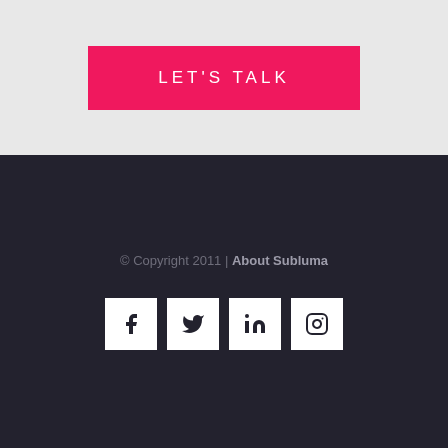LET'S TALK
© Copyright 2011 | About Subluma
[Figure (illustration): Four social media icons (Facebook, Twitter, LinkedIn, Instagram) displayed as white square buttons with dark icons]